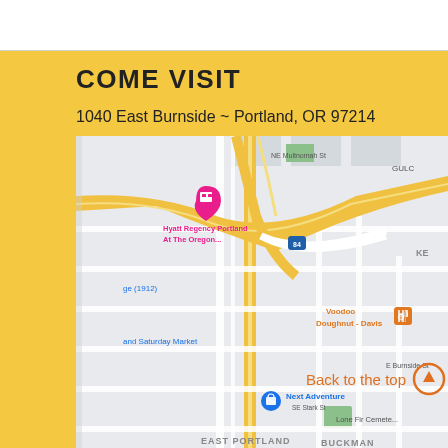COME VISIT
1040 East Burnside ~ Portland, OR 97214
[Figure (map): Google Maps screenshot showing area around 1040 East Burnside, Portland, OR 97214. Visible landmarks include Hyatt Regency Portland At The Oregon..., Voodoo Doughnut - Davis, Next Adventure, Lone Fir Cemetery, and neighborhoods labeled BUCKMAN and EAST PORTLAND. Highway I-84 is shown.]
Back to the top